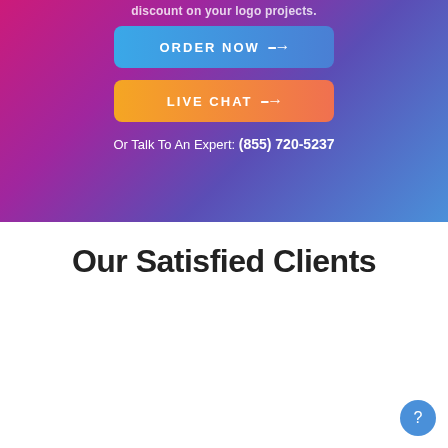discount on your logo projects.
[Figure (infographic): Blue rounded rectangle button with text ORDER NOW and arrow]
[Figure (infographic): Orange rounded rectangle button with text LIVE CHAT and arrow]
Or Talk To An Expert: (855) 720-5237
Our Satisfied Clients